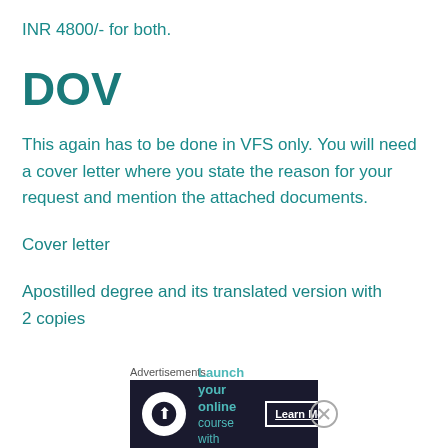INR 4800/- for both.
DOV
This again has to be done in VFS only. You will need a cover letter where you state the reason for your request and mention the attached documents.
Cover letter
Apostilled degree and its translated version with 2 copies